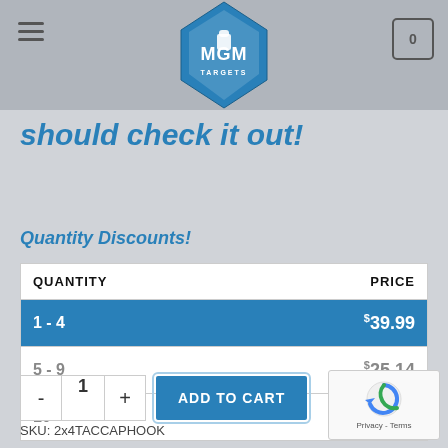MGM Targets — Header with hamburger menu, logo, and cart icon showing 0
should check it out!
Quantity Discounts!
| QUANTITY | PRICE |
| --- | --- |
| 1 - 4 | $39.99 |
| 5 - 9 | $25.14 |
| 10+ | $22.64 |
- 1 + ADD TO CART
SKU: 2x4TACCAPHOOK
[Figure (logo): reCAPTCHA privacy badge with spinning logo and Privacy - Terms links]